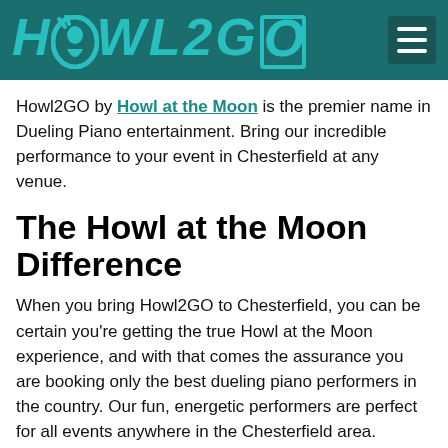HOWL2GO
Howl2GO by Howl at the Moon is the premier name in Dueling Piano entertainment. Bring our incredible performance to your event in Chesterfield at any venue.
The Howl at the Moon Difference
When you bring Howl2GO to Chesterfield, you can be certain you're getting the true Howl at the Moon experience, and with that comes the assurance you are booking only the best dueling piano performers in the country. Our fun, energetic performers are perfect for all events anywhere in the Chesterfield area.
Only the Best Chesterfield